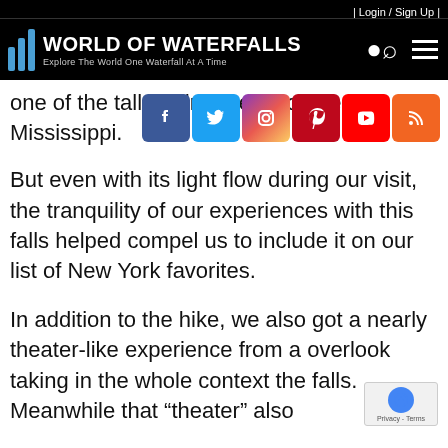| Login / Sign Up |
World of Waterfalls — Explore The World One Waterfall At A Time
one of the tallest drops east of the Mississippi.
But even with its light flow during our visit, the tranquility of our experiences with this falls helped compel us to include it on our list of New York favorites.
In addition to the hike, we also got a nearly theater-like experience from a overlook taking in the whole context the falls. Meanwhile that "theater" also